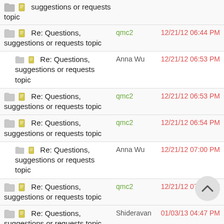Re: Questions, suggestions or requests topic | qmc2 | 12/21/12 06:44 PM
Re: Questions, suggestions or requests topic | Anna Wu | 12/21/12 06:53 PM
Re: Questions, suggestions or requests topic | qmc2 | 12/21/12 06:53 PM
Re: Questions, suggestions or requests topic | qmc2 | 12/21/12 06:54 PM
Re: Questions, suggestions or requests topic | Anna Wu | 12/21/12 07:00 PM
Re: Questions, suggestions or requests topic | qmc2 | 12/21/12 07:01 PM
Re: Questions, suggestions or requests topic | Shideravan | 01/03/13 04:47 PM
Re: Questions, suggestions or requests topic | qmc2 | 01/03/13 05:48 PM
Re: Questions, suggestions or requests topic | qmc2 | 01/03/13 07:44 PM
Re: Questions, suggestions or requests topic | qmc2 | 01/03/13 08:25 PM